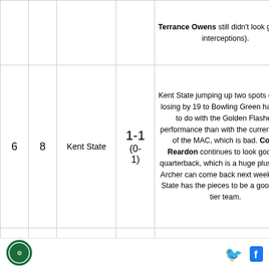| Rank | Prev | Team | Record | Notes |
| --- | --- | --- | --- | --- |
|  |  |  |  | Terrance Owens still didn't look great (3 interceptions). |
| 6 | 8 | Kent State | 1-1 (0-1) | Kent State jumping up two spots despite losing by 19 to Bowling Green has less to do with the Golden Flashes performance than with the current state of the MAC, which is bad. Colin Reardon continues to look good at quarterback, which is a huge plus. If Dri Archer can come back next week, Kent State has the pieces to be a good mid-tier team. |
| 7 | 6 |  | 0-2 (0-0) | I know Buffalo is better than that 70-13 loss to Baylor suggests, but it's impossible not to drop them after that. The Bulls were trounced in that game, and looked |
Logo | Twitter | Facebook